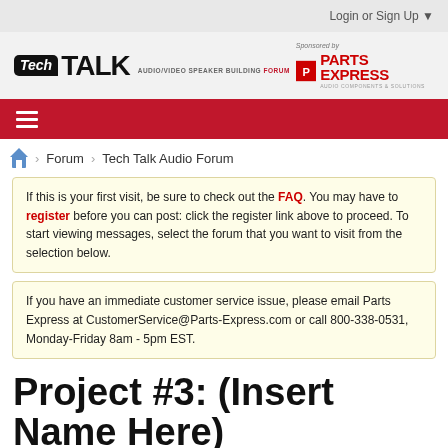Login or Sign Up ▼
[Figure (logo): Tech Talk Audio/Video Speaker Building Forum logo, sponsored by Parts Express]
[Figure (other): Red navigation bar with hamburger menu icon]
🏠 > Forum > Tech Talk Audio Forum
If this is your first visit, be sure to check out the FAQ. You may have to register before you can post: click the register link above to proceed. To start viewing messages, select the forum that you want to visit from the selection below.
If you have an immediate customer service issue, please email Parts Express at CustomerService@Parts-Express.com or call 800-338-0531, Monday-Friday 8am - 5pm EST.
Project #3: (Insert Name Here)